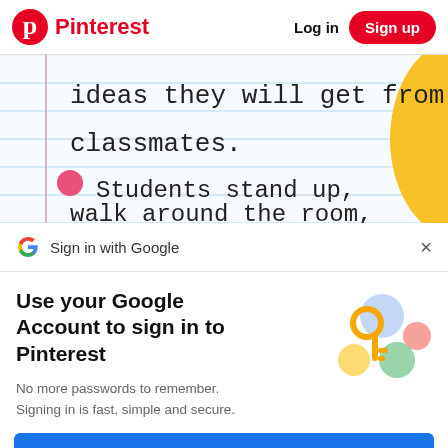Pinterest  Log in  Sign up
[Figure (screenshot): Lined notebook paper image with handwritten text: 'ideas they will get from classmates.' and a bullet point 'Students stand up, walk around the room,' with a yellow curved shape on the right side.]
Sign in with Google
Use your Google Account to sign in to Pinterest
No more passwords to remember. Signing in is fast, simple and secure.
Continue